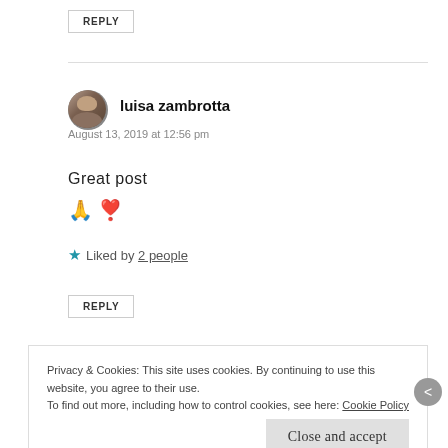REPLY
luisa zambrotta
August 13, 2019 at 12:56 pm
Great post 🙏 ❣️
★ Liked by 2 people
REPLY
Privacy & Cookies: This site uses cookies. By continuing to use this website, you agree to their use.
To find out more, including how to control cookies, see here: Cookie Policy
Close and accept